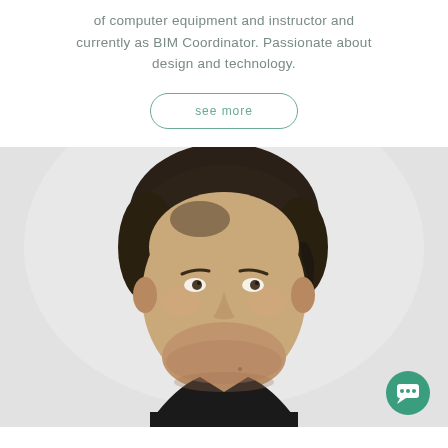of computer equipment and instructor and currently as BIM Coordinator. Passionate about design and technology.
see more
[Figure (photo): Black and white portrait photo of a smiling young man with short hair, looking upward slightly, wearing a dark top. A circular green chat/message icon button is overlaid in the bottom-right corner of the photo.]